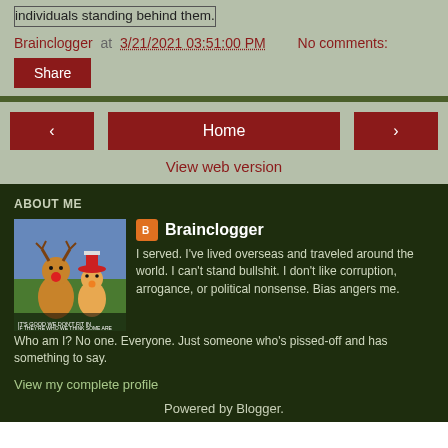individuals standing behind them.
Brainclogger at 3/21/2021 03:51:00 PM   No comments:
Share
‹  Home  ›
View web version
ABOUT ME
[Figure (illustration): Cartoon image of animated characters, possibly from a movie or game, with text overlay]
Brainclogger
I served. I've lived overseas and traveled around the world. I can't stand bullshit. I don't like corruption, arrogance, or political nonsense. Bias angers me. Who am I? No one. Everyone. Just someone who's pissed-off and has something to say.
View my complete profile
Powered by Blogger.